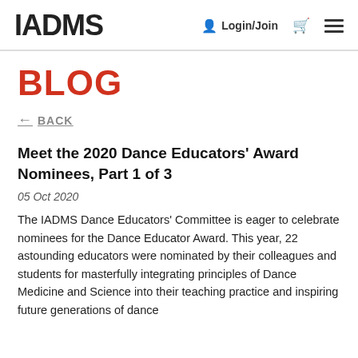IADMS  Login/Join
BLOG
← BACK
Meet the 2020 Dance Educators' Award Nominees, Part 1 of 3
05 Oct 2020
The IADMS Dance Educators' Committee is eager to celebrate nominees for the Dance Educator Award. This year, 22 astounding educators were nominated by their colleagues and students for masterfully integrating principles of Dance Medicine and Science into their teaching practice and inspiring future generations of dance